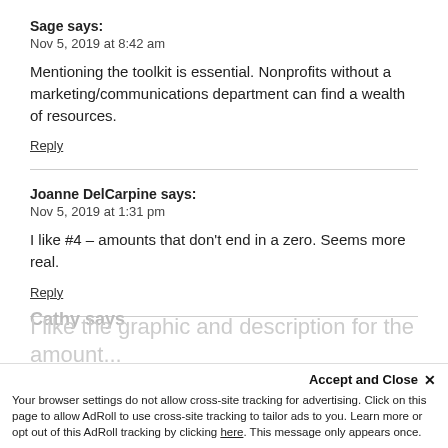Sage says:
Nov 5, 2019 at 8:42 am
Mentioning the toolkit is essential. Nonprofits without a marketing/communications department can find a wealth of resources.
Reply
Joanne DelCarpine says:
Nov 5, 2019 at 1:31 pm
I like #4 – amounts that don't end in a zero. Seems more real.
Reply
Cathy says
Accept and Close ×
Your browser settings do not allow cross-site tracking for advertising. Click on this page to allow AdRoll to use cross-site tracking to tailor ads to you. Learn more or opt out of this AdRoll tracking by clicking here. This message only appears once.